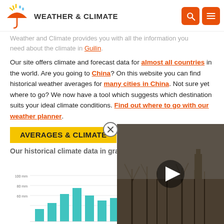WEATHER & CLIMATE
Weather and Climate provides you with all the information you need about the climate in Guilin.
Our site offers climate and forecast data for almost all countries in the world. Are you going to China? On this website you can find historical weather averages for many cities in China. Not sure yet where to go? We now have a tool which suggests which destination suits your ideal climate conditions. Find out where to go with our weather planner.
AVERAGES & CLIMATE
Our historical climate data in gra...
[Figure (bar-chart): Partial bar chart showing climate averages with y-axis labels 100mm, 80mm, 60mm visible and teal/cyan colored bars]